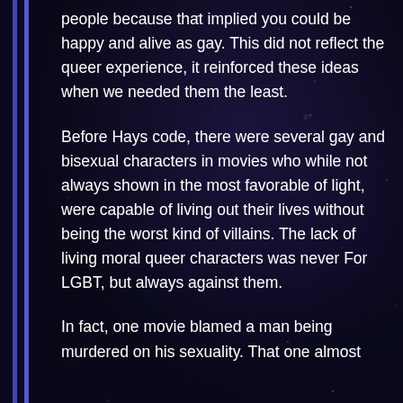people because that implied you could be happy and alive as gay. This did not reflect the queer experience, it reinforced these ideas when we needed them the least.
Before Hays code, there were several gay and bisexual characters in movies who while not always shown in the most favorable of light, were capable of living out their lives without being the worst kind of villains. The lack of living moral queer characters was never For LGBT, but always against them.
In fact, one movie blamed a man being murdered on his sexuality. That one almost